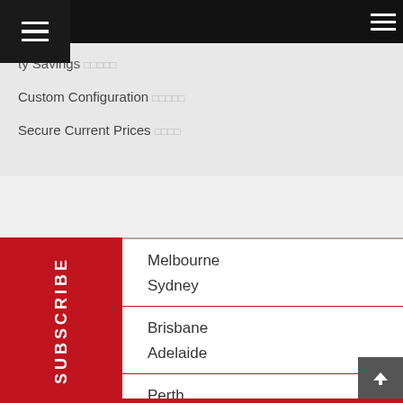[Figure (screenshot): Top navigation bar with hamburger menu icons on left and right, black background]
Custom Configuration
Secure Current Prices
Melbourne
Sydney
Brisbane
Adelaide
Perth
Victoria
Queensland
New South Wales